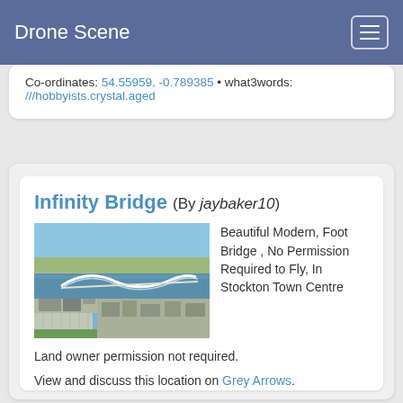Drone Scene
Co-ordinates: 54.55959, -0.789385 • what3words: ///hobbyists.crystal.aged
Infinity Bridge (By jaybaker10)
[Figure (photo): Aerial photograph of Infinity Bridge in Stockton Town Centre, showing a modern pedestrian bridge over a river with urban development visible on both sides.]
Beautiful Modern, Foot Bridge , No Permission Required to Fly, In Stockton Town Centre
Land owner permission not required.
View and discuss this location on Grey Arrows.
Co-ordinates: 54.5649, -1.299198 • what3words: ///bedding.aimed.occurs